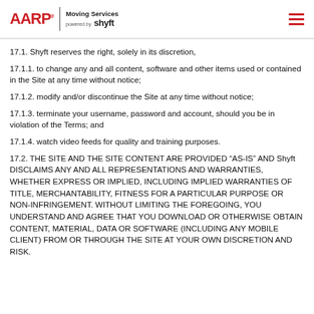AARP Moving Services powered by shyft
17.1. Shyft reserves the right, solely in its discretion,
17.1.1. to change any and all content, software and other items used or contained in the Site at any time without notice;
17.1.2. modify and/or discontinue the Site at any time without notice;
17.1.3. terminate your username, password and account, should you be in violation of the Terms; and
17.1.4. watch video feeds for quality and training purposes.
17.2. THE SITE AND THE SITE CONTENT ARE PROVIDED “AS-IS” AND Shyft DISCLAIMS ANY AND ALL REPRESENTATIONS AND WARRANTIES, WHETHER EXPRESS OR IMPLIED, INCLUDING IMPLIED WARRANTIES OF TITLE, MERCHANTABILITY, FITNESS FOR A PARTICULAR PURPOSE OR NON-INFRINGEMENT. WITHOUT LIMITING THE FOREGOING, YOU UNDERSTAND AND AGREE THAT YOU DOWNLOAD OR OTHERWISE OBTAIN CONTENT, MATERIAL, DATA OR SOFTWARE (INCLUDING ANY MOBILE CLIENT) FROM OR THROUGH THE SITE AT YOUR OWN DISCRETION AND RISK.